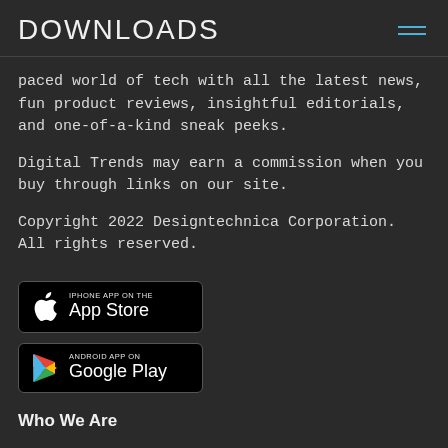DOWNLOADS
paced world of tech with all the latest news, fun product reviews, insightful editorials, and one-of-a-kind sneak peeks.
Digital Trends may earn a commission when you buy through links on our site.
Copyright 2022 Designtechnica Corporation. All rights reserved.
[Figure (logo): iPhone App on the App Store badge with Apple logo]
[Figure (logo): Android App on Google Play badge with Play Store triangle logo]
Who We Are